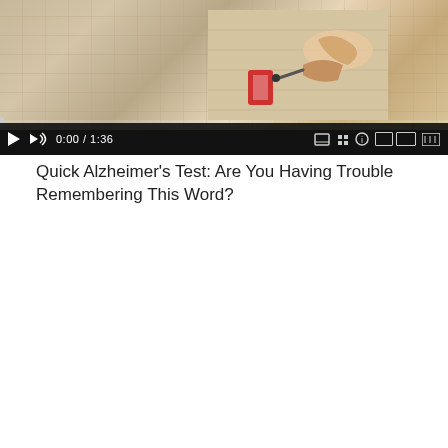[Figure (screenshot): Video player showing a person writing at a desk, with playback controls showing 0:00 / 1:36]
Quick Alzheimer's Test: Are You Having Trouble Remembering This Word?
[Figure (infographic): Dark advertisement image with red text 'It Looks Like Gold Is in Trouble', white text 'I've outlined what's happening... and what you can do right now to get prepared.', Capitol building silhouette, and orange bar at bottom reading 'CLICK HERE TO GET THE DETAILS']